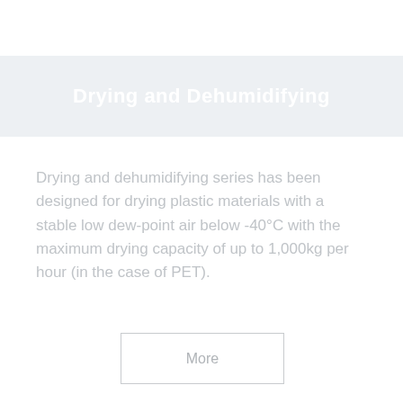Drying and Dehumidifying
Drying and dehumidifying series has been designed for drying plastic materials with a stable low dew-point air below -40°C with the maximum drying capacity of up to 1,000kg per hour (in the case of PET).
More